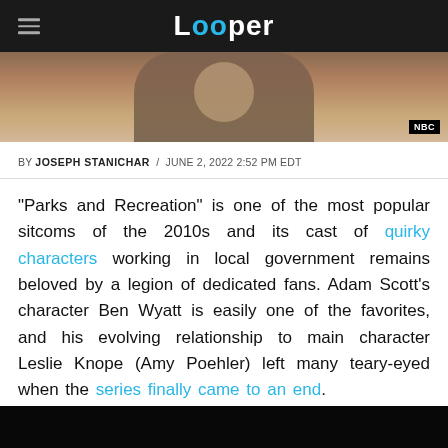Looper
[Figure (photo): Partial photo of a person in a suit, with NBC watermark in bottom right corner]
BY JOSEPH STANICHAR / JUNE 2, 2022 2:52 PM EDT
"Parks and Recreation" is one of the most popular sitcoms of the 2010s and its cast of quirky characters working in local government remains beloved by a legion of dedicated fans. Adam Scott's character Ben Wyatt is easily one of the favorites, and his evolving relationship to main character Leslie Knope (Amy Poehler) left many teary-eyed when the series finally came to an end.
[Figure (photo): Dark/black image strip at bottom of page]